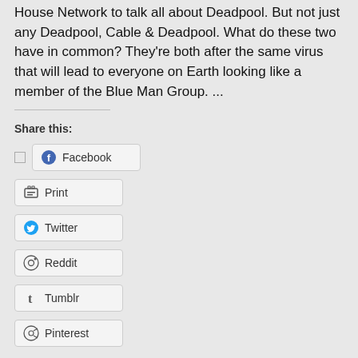House Network to talk all about Deadpool. But not just any Deadpool, Cable & Deadpool. What do these two have in common? They're both after the same virus that will lead to everyone on Earth looking like a member of the Blue Man Group. ...
Share this:
Facebook
Print
Twitter
Reddit
Tumblr
Pinterest